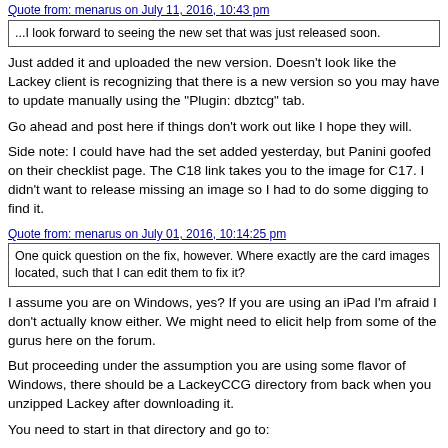Quote from: menarus on July 11, 2016, 10:43 pm (link at top, clipped)
...I look forward to seeing the new set that was just released soon.
Just added it and uploaded the new version. Doesn't look like the Lackey client is recognizing that there is a new version so you may have to update manually using the "Plugin: dbztcg" tab.
Go ahead and post here if things don't work out like I hope they will.
Side note: I could have had the set added yesterday, but Panini goofed on their checklist page. The C18 link takes you to the image for C17. I didn't want to release missing an image so I had to do some digging to find it.
Quote from: menarus on July 01, 2016, 10:14:25 pm
One quick question on the fix, however. Where exactly are the card images located, such that I can edit them to fix it?
I assume you are on Windows, yes? If you are using an iPad I'm afraid I don't actually know either. We might need to elicit help from some of the gurus here on the forum.
But proceeding under the assumption you are using some flavor of Windows, there should be a LackeyCCG directory from back when you unzipped Lackey after downloading it.
You need to start in that directory and go to:
Code: [Select]